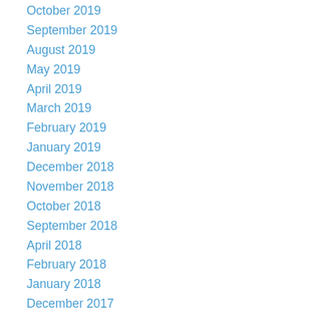October 2019
September 2019
August 2019
May 2019
April 2019
March 2019
February 2019
January 2019
December 2018
November 2018
October 2018
September 2018
April 2018
February 2018
January 2018
December 2017
November 2017
October 2017
September 2017
August 2017